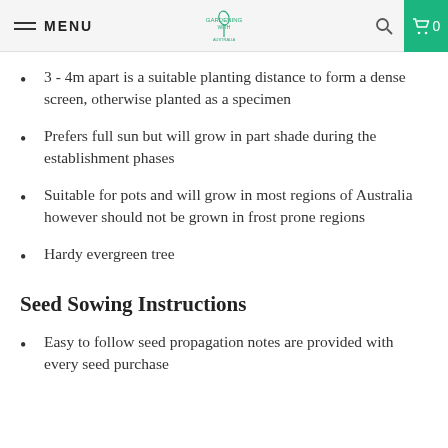MENU | [logo] | [search] | 0
3 - 4m apart is a suitable planting distance to form a dense screen, otherwise planted as a specimen
Prefers full sun but will grow in part shade during the establishment phases
Suitable for pots and will grow in most regions of Australia however should not be grown in frost prone regions
Hardy evergreen tree
Seed Sowing Instructions
Easy to follow seed propagation notes are provided with every seed purchase